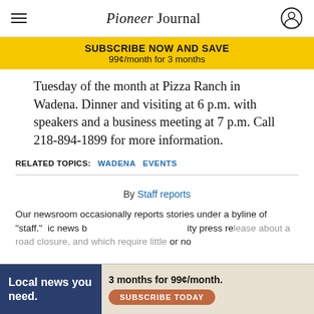Pioneer Journal
SUBSCRIBE NOW AND SAVE 99¢/month for 3 months
Tuesday of the month at Pizza Ranch in Wadena. Dinner and visiting at 6 p.m. with speakers and a business meeting at 7 p.m. Call 218-894-1899 for more information.
RELATED TOPICS: WADENA EVENTS
By Staff reports
Our newsroom occasionally reports stories under a byline of "staff." ... ic news b... ity press release about a road closure, and which require little or no
[Figure (other): Bottom advertisement banner: Local news you need. 3 months for 99¢/month. Subscribe Today button.]